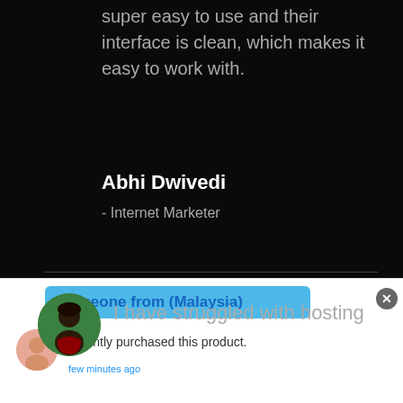super easy to use and their interface is clean, which makes it easy to work with.
Abhi Dwivedi
- Internet Marketer
I have struggled with hosting
Someone from (Malaysia)
recently purchased this product.
few minutes ago